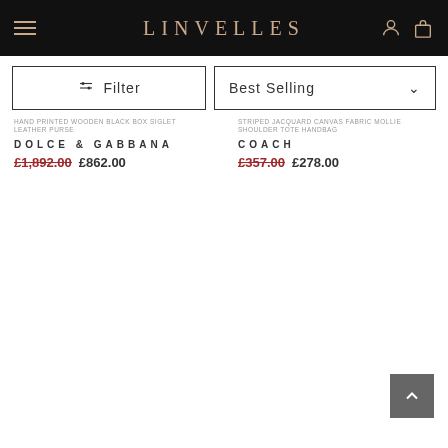LINVELLES
Filter
Best Selling
HAND PRINTED WOODEN BLACK BOX SIGLET LEATHER PURSE
DOLCE & GABBANA
£1,892.00  £862.00
STRIPED JACQUARD CANVAS FABRIC MOLLIE SHOULDER TOTE HANDBAG
COACH
£357.00  £278.00